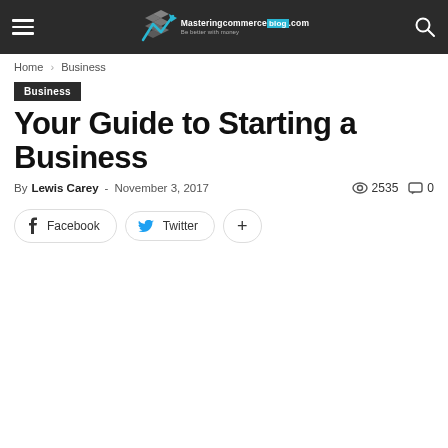Masteringcommerce.blog.com - Be better with money
Home › Business
Business
Your Guide to Starting a Business
By Lewis Carey - November 3, 2017  2535  0
Facebook  Twitter  +